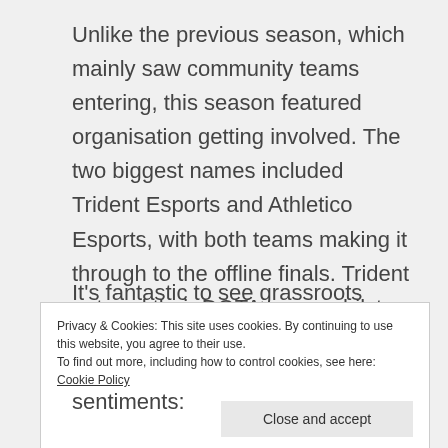Unlike the previous season, which mainly saw community teams entering, this season featured organisation getting involved. The two biggest names included Trident Esports and Athletico Esports, with both teams making it through to the offline finals. Trident entered their DOTA team, whilst Athletico acquired the Season 4 Champs, Water.
It's fantastic to see grassroots DOTA 2 growing
Privacy & Cookies: This site uses cookies. By continuing to use this website, you agree to their use.
To find out more, including how to control cookies, see here: Cookie Policy
Close and accept
sentiments: